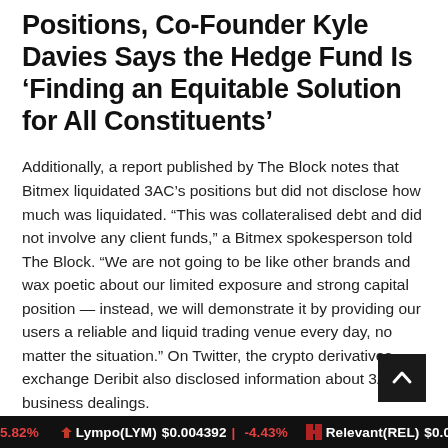Positions, Co-Founder Kyle Davies Says the Hedge Fund Is ‘Finding an Equitable Solution for All Constituents’
Additionally, a report published by The Block notes that Bitmex liquidated 3AC’s positions but did not disclose how much was liquidated. “This was collateralised debt and did not involve any client funds,” a Bitmex spokesperson told The Block. “We are not going to be like other brands and wax poetic about our limited exposure and strong capital position — instead, we will demonstrate it by providing our users a reliable and liquid trading venue every day, no matter the situation.” On Twitter, the crypto derivatives exchange Deribit also disclosed information about 3AC’s business dealings.
“We can confirm that Three Arrows Capital is a sharehol...
5.82%   Lympo(LYM)  $0.004392  | -4.43%   Relevant(REL)  $0.00...